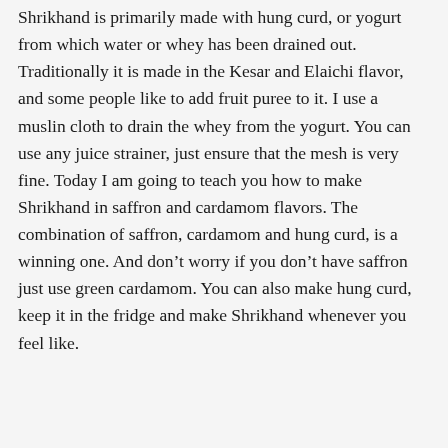Shrikhand is primarily made with hung curd, or yogurt from which water or whey has been drained out. Traditionally it is made in the Kesar and Elaichi flavor, and some people like to add fruit puree to it. I use a muslin cloth to drain the whey from the yogurt. You can use any juice strainer, just ensure that the mesh is very fine. Today I am going to teach you how to make Shrikhand in saffron and cardamom flavors. The combination of saffron, cardamom and hung curd, is a winning one. And don’t worry if you don’t have saffron just use green cardamom. You can also make hung curd, keep it in the fridge and make Shrikhand whenever you feel like.